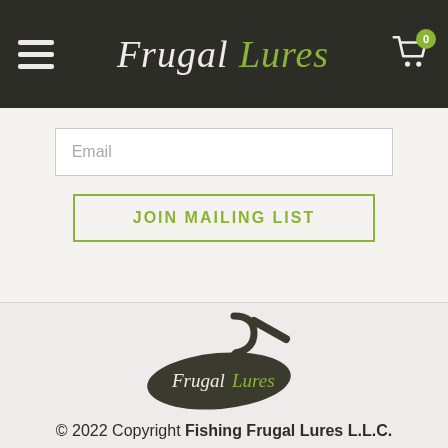[Figure (logo): Frugal Lures website header with hamburger menu, logo text, and shopping cart icon with badge showing 0]
Email
JOIN MAILING LIST
[Figure (logo): Frugal Lures fishing lure logo — dark silhouette of a jig bait with hook, text 'Frugal' in cream and 'Lures' in green]
© 2022 Copyright Fishing Frugal Lures L.L.C.